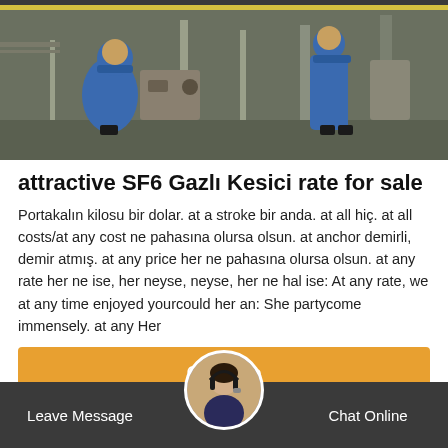[Figure (photo): Two workers in blue uniforms and hard hats working on industrial equipment, possibly electrical switchgear or SF6 gas circuit breakers, in a facility.]
attractive SF6 Gazlı Kesici rate for sale
Portakalın kilosu bir dolar. at a stroke bir anda. at all hiç. at all costs/at any cost ne pahasına olursa olsun. at anchor demirli, demir atmış. at any price her ne pahasına olursa olsun. at any rate her ne ise, her neyse, neyse, her ne hal ise: At any rate, we at any time enjoyed yourcould her an: She partycome immensely. at any Her
Get Price
Leave Message
Chat Online